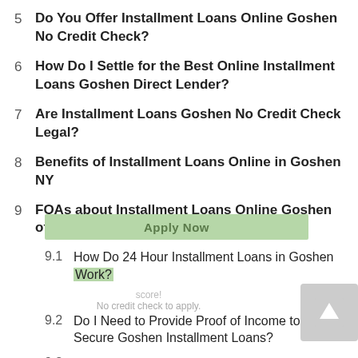5  Do You Offer Installment Loans Online Goshen No Credit Check?
6  How Do I Settle for the Best Online Installment Loans Goshen Direct Lender?
7  Are Installment Loans Goshen No Credit Check Legal?
8  Benefits of Installment Loans Online in Goshen NY
9  FQAs about Installment Loans Online Goshen of New York
9.1  How Do 24 Hour Installment Loans in Goshen Work?
9.2  Do I Need to Provide Proof of Income to Secure Goshen Installment Loans?
9.3  What If I No Longer Need the Secured